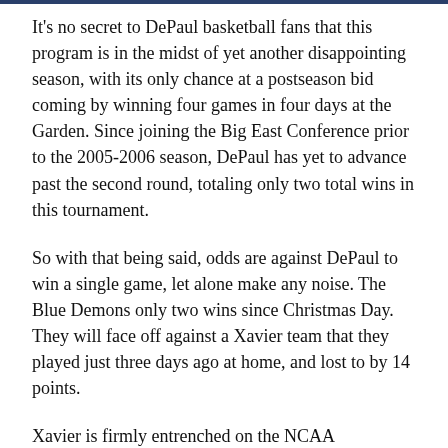It's no secret to DePaul basketball fans that this program is in the midst of yet another disappointing season, with its only chance at a postseason bid coming by winning four games in four days at the Garden. Since joining the Big East Conference prior to the 2005-2006 season, DePaul has yet to advance past the second round, totaling only two total wins in this tournament.
So with that being said, odds are against DePaul to win a single game, let alone make any noise. The Blue Demons only two wins since Christmas Day. They will face off against a Xavier team that they played just three days ago at home, and lost to by 14 points.
Xavier is firmly entrenched on the NCAA Tournament bubble after going 2-6 in their last eight games, but their two wins came against this DePaul team. The Blue